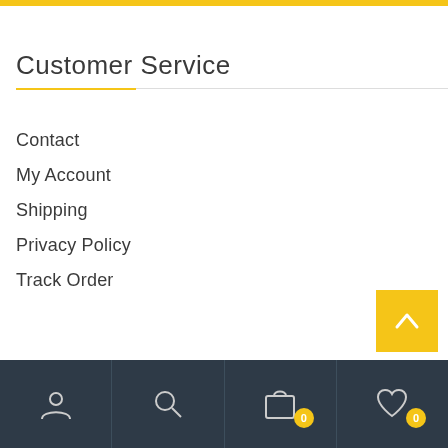Customer Service
Contact
My Account
Shipping
Privacy Policy
Track Order
Hot Sale
Account | Search | Cart (0) | Wishlist (0)